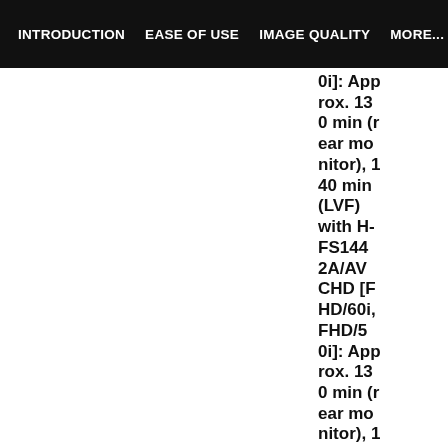INTRODUCTION   EASE OF USE   IMAGE QUALITY   MORE...
0i]: Approx. 130 min (rear monitor), 140 min (LVF) with H-FS1442A/AVCHD [FHD/60i, FHD/50i]: Approx. 130 min (rear monitor), 1